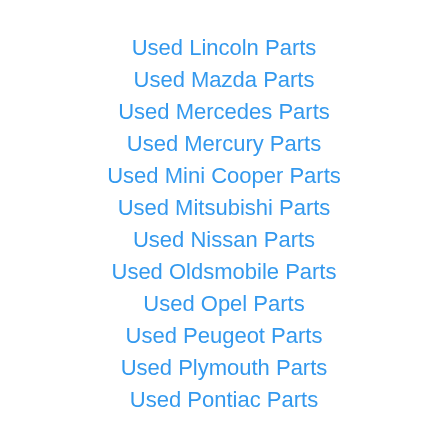Used Lincoln Parts
Used Mazda Parts
Used Mercedes Parts
Used Mercury Parts
Used Mini Cooper Parts
Used Mitsubishi Parts
Used Nissan Parts
Used Oldsmobile Parts
Used Opel Parts
Used Peugeot Parts
Used Plymouth Parts
Used Pontiac Parts